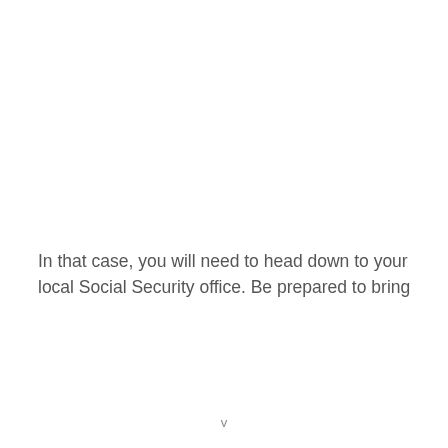In that case, you will need to head down to your local Social Security office. Be prepared to bring
v